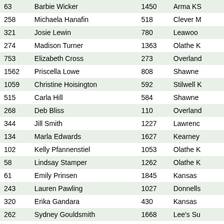| 63 | Barbie Wicker | 1450 | Arma KS |
| 258 | Michaela Hanafin | 518 | Clever M |
| 321 | Josie Lewin | 780 | Leawoo |
| 274 | Madison Turner | 1363 | Olathe K |
| 753 | Elizabeth Cross | 273 | Overland |
| 1562 | Priscella Lowe | 808 | Shawne |
| 1059 | Christine Hoisington | 592 | Stilwell K |
| 515 | Carla Hill | 584 | Shawne |
| 268 | Deb Bliss | 110 | Overland |
| 344 | Jill Smith | 1227 | Lawrenc |
| 134 | Marla Edwards | 1627 | Kearney |
| 102 | Kelly Pfannenstiel | 1053 | Olathe K |
| 58 | Lindsay Stamper | 1262 | Olathe K |
| 61 | Emily Prinsen | 1845 | Kansas |
| 243 | Lauren Pawling | 1027 | Donnells |
| 320 | Erika Gandara | 430 | Kansas |
| 262 | Sydney Gouldsmith | 1668 | Lee's Su |
| 751 | Joy Haney | 523 | Gardner |